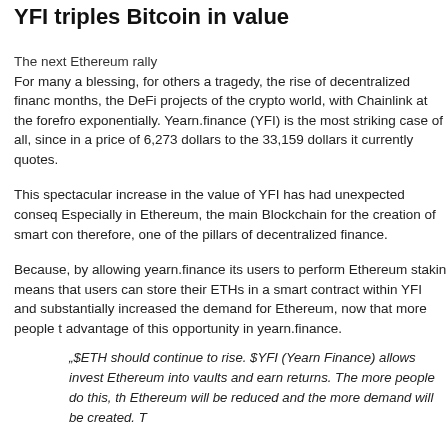YFI triples Bitcoin in value
The next Ethereum rally
For many a blessing, for others a tragedy, the rise of decentralized finance months, the DeFi projects of the crypto world, with Chainlink at the forefront, exponentially. Yearn.finance (YFI) is the most striking case of all, since in a price of 6,273 dollars to the 33,159 dollars it currently quotes.
This spectacular increase in the value of YFI has had unexpected consequences. Especially in Ethereum, the main Blockchain for the creation of smart contracts and therefore, one of the pillars of decentralized finance.
Because, by allowing yearn.finance its users to perform Ethereum staking, this means that users can store their ETHs in a smart contract within YFI and substantially increased the demand for Ethereum, now that more people want to take advantage of this opportunity in yearn.finance.
„$ETH should continue to rise. $YFI (Yearn Finance) allows investors to lock Ethereum into vaults and earn returns. The more people do this, the supply of Ethereum will be reduced and the more demand will be created. T
So, if Scott Melker's analysis is right, we could be on the verge of a new rally. As demand for cryptomone increases due to the effects of DeFi, and the ETH users.